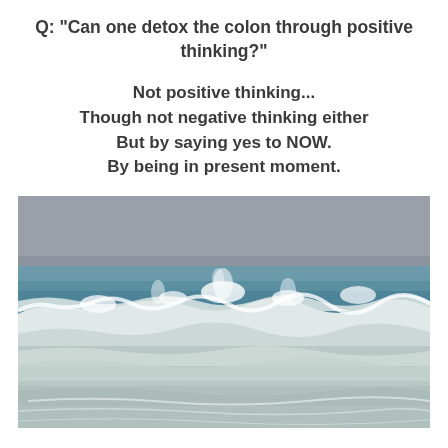Q: "Can one detox the colon through positive thinking?"
Not positive thinking...
Though not negative thinking either
But by saying yes to NOW.
By being in present moment.
[Figure (photo): Ocean waves crashing on a beach, with white frothy waves in the foreground, blue-green water in the middle, and a grey sky in the background.]